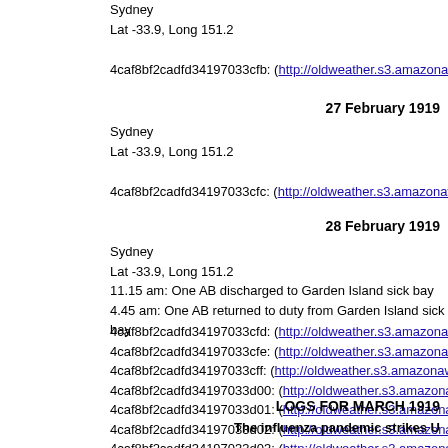Sydney
Lat -33.9, Long 151.2
4caf8bf2cadfd34197033cfb: (http://oldweather.s3.amazonaws.com/AD...
27 February 1919
Sydney
Lat -33.9, Long 151.2
4caf8bf2cadfd34197033cfc: (http://oldweather.s3.amazonaws.com/AD...
28 February 1919
Sydney
Lat -33.9, Long 151.2
11.15 am: One AB discharged to Garden Island sick bay
4.45 am: One AB returned to duty from Garden Island sick bay
4caf8bf2cadfd34197033cfd: (http://oldweather.s3.amazonaws.com/AD...
4caf8bf2cadfd34197033cfe: (http://oldweather.s3.amazonaws.com/AD...
4caf8bf2cadfd34197033cff: (http://oldweather.s3.amazonaws.com/AD...
4caf8bf2cadfd34197033d00: (http://oldweather.s3.amazonaws.com/Al...
4caf8bf2cadfd34197033d01: (http://oldweather.s3.amazonaws.com/Al...
4caf8bf2cadfd34197033d02: (http://oldweather.s3.amazonaws.com/Al...
4caf8bf2cadfd34197033d03: (http://oldweather.s3.amazonaws.com/Al...
LOGS FOR MARCH 1919
The influenza pandemic strikes U...